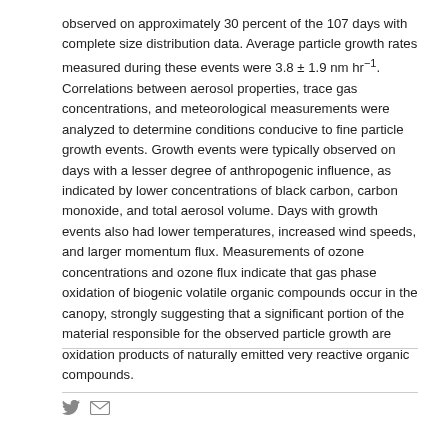observed on approximately 30 percent of the 107 days with complete size distribution data. Average particle growth rates measured during these events were 3.8 ± 1.9 nm hr⁻¹. Correlations between aerosol properties, trace gas concentrations, and meteorological measurements were analyzed to determine conditions conducive to fine particle growth events. Growth events were typically observed on days with a lesser degree of anthropogenic influence, as indicated by lower concentrations of black carbon, carbon monoxide, and total aerosol volume. Days with growth events also had lower temperatures, increased wind speeds, and larger momentum flux. Measurements of ozone concentrations and ozone flux indicate that gas phase oxidation of biogenic volatile organic compounds occur in the canopy, strongly suggesting that a significant portion of the material responsible for the observed particle growth are oxidation products of naturally emitted very reactive organic compounds.